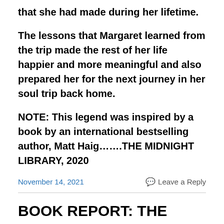that she had made during her lifetime.
The lessons that Margaret learned from the trip made the rest of her life happier and more meaningful and also prepared her for the next journey in her soul trip back home.
NOTE: This legend was inspired by a book by an international bestselling author, Matt Haig…….THE MIDNIGHT LIBRARY, 2020
November 14, 2021
Leave a Reply
BOOK REPORT: THE